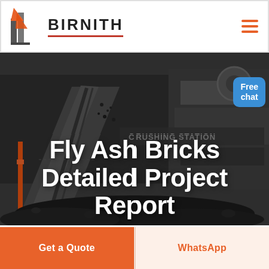[Figure (logo): Birnith company logo: orange and dark building/construction icon with company name BIRNITH and red underline, plus hamburger menu icon on the right]
[Figure (photo): Industrial crushing station machinery with conveyor belt and coal/aggregate material, dark moody industrial background photo used as hero image]
Fly Ash Bricks Detailed Project Report
[Figure (infographic): Free chat button (blue rounded rectangle) with customer service representative figure on the right side of the hero image]
Get a Quote
WhatsApp